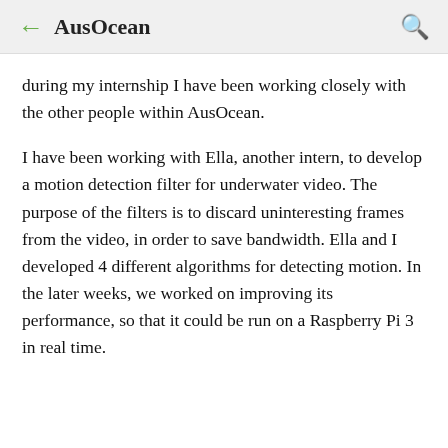← AusOcean 🔍
during my internship I have been working closely with the other people within AusOcean.
I have been working with Ella, another intern, to develop a motion detection filter for underwater video. The purpose of the filters is to discard uninteresting frames from the video, in order to save bandwidth. Ella and I developed 4 different algorithms for detecting motion. In the later weeks, we worked on improving its performance, so that it could be run on a Raspberry Pi 3 in real time.